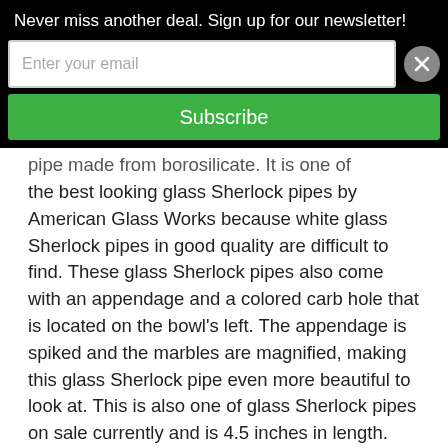Never miss another deal. Sign up for our newsletter!
[Figure (screenshot): Email subscription form with input field and Subscribe button on black background]
pipe made from borosilicate. It is one of the best looking glass Sherlock pipes by American Glass Works because white glass Sherlock pipes in good quality are difficult to find. These glass Sherlock pipes also come with an appendage and a colored carb hole that is located on the bowl's left. The appendage is spiked and the marbles are magnified, making this glass Sherlock pipe even more beautiful to look at. This is also one of glass Sherlock pipes on sale currently and is 4.5 inches in length.